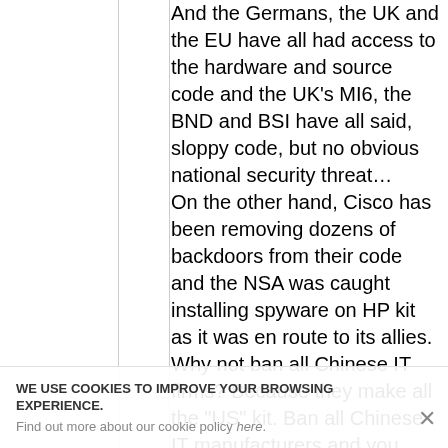And the Germans, the UK and the EU have all had access to the hardware and source code and the UK's MI6, the BND and BSI have all said, sloppy code, but no obvious national security threat… On the other hand, Cisco has been removing dozens of backdoors from their code and the NSA was caught installing spyware on HP kit as it was en route to its allies. Why not ban all Chinese IT firms? Because they make all the "US" kit. Ban all Chinese IT manufacturers and you suddenly have no more iPhones, most of the networking kit disappears, no
WE USE COOKIES TO IMPROVE YOUR BROWSING EXPERIENCE. Find out more about our cookie policy here.